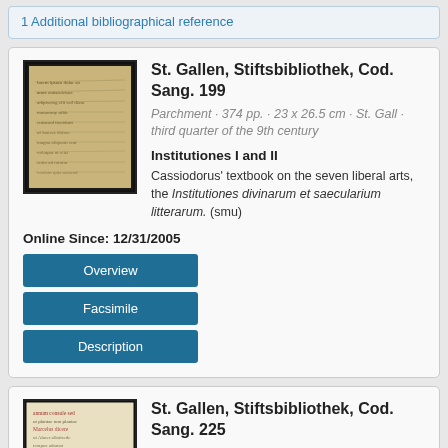1 Additional bibliographical reference
St. Gallen, Stiftsbibliothek, Cod. Sang. 199
Parchment · 374 pp. · 23 x 26.5 cm · St. Gall · third quarter of the 9th century
Institutiones I and II
Cassiodorus' textbook on the seven liberal arts, the Institutiones divinarum et saecularium litterarum. (smu)
Online Since: 12/31/2005
Overview
Facsimile
Description
St. Gallen, Stiftsbibliothek, Cod. Sang. 225